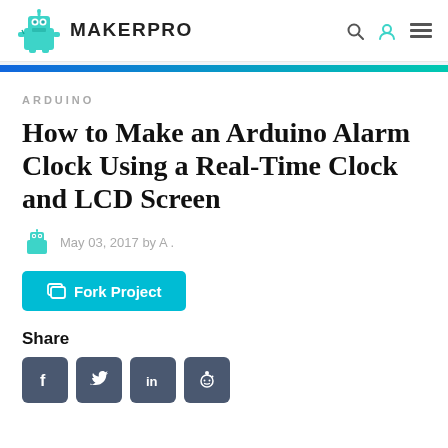MAKER PRO
ARDUINO
How to Make an Arduino Alarm Clock Using a Real-Time Clock and LCD Screen
May 03, 2017 by A .
Fork Project
Share